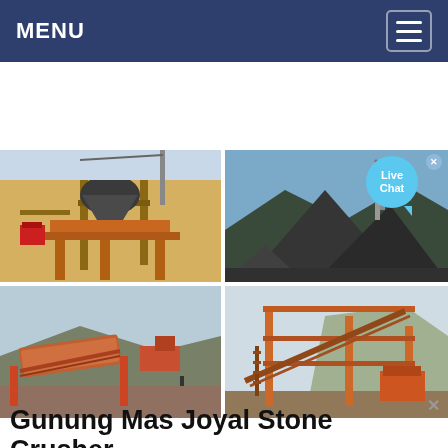MENU
[Figure (photo): Four photos in a 2x2 grid showing stone crusher and mining equipment: top-left shows an industrial cone crusher plant structure, top-right shows aggregate/gravel stockpile mounds with conveyor, bottom-left shows a screening/sorting plant with conveyor belts, bottom-right shows a large orange conveyor and crushing structure.]
Gunung Mas Joyal Stone Crusher